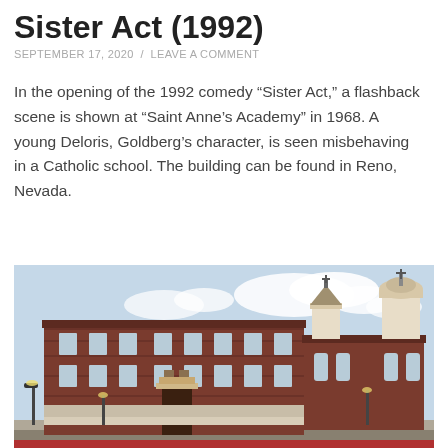Sister Act (1992)
SEPTEMBER 17, 2020 / LEAVE A COMMENT
In the opening of the 1992 comedy “Sister Act,” a flashback scene is shown at “Saint Anne’s Academy” in 1968. A young Deloris, Goldberg’s character, is seen misbehaving in a Catholic school. The building can be found in Reno, Nevada.
[Figure (photo): Exterior photograph of a large red brick Catholic school building and church in Reno, Nevada, with a blue sky and light clouds in the background. The multi-story school building is on the left, with arched entrance doorway and ornate stonework. The church with twin bell towers and crosses is visible on the right side.]